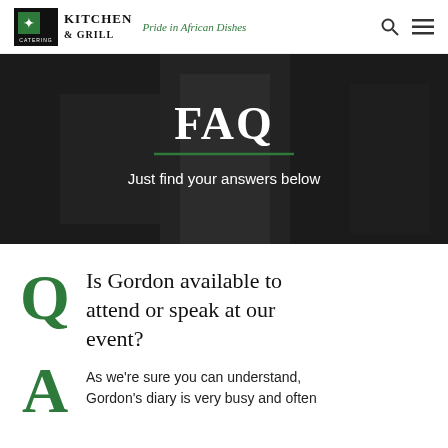Kitchen & Grill — Pride in African Dishes
FAQ
Just find your answers below
Q  Is Gordon available to attend or speak at our event?
A  As we're sure you can understand, Gordon's diary is very busy and often